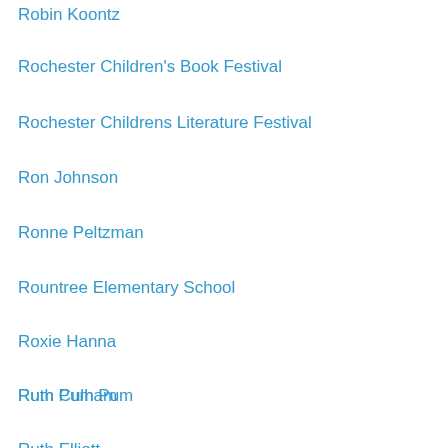Robin Koontz
Rochester Children's Book Festival
Rochester Childrens Literature Festival
Ron Johnson
Ronne Peltzman
Rountree Elementary School
Roxie Hanna
Rum Pum Pum
Ruth Culham
Ruth Elliott
Ruth Nathan
Rymes for the Times
Sam Bommarito
Sandra Fenichel Asher
Sandy and David
Sandy Asher
Sandy Harrison
Sara Burge
Sara Holbrook
Sara Johnson